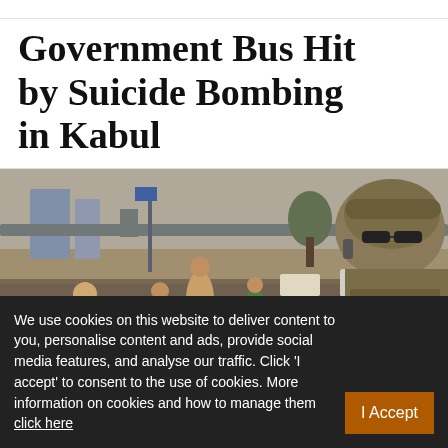Government Bus Hit by Suicide Bombing in Kabul
[Figure (photo): Street scene in Kabul with people running, cars, an overpass, and a soldier in camouflage gear and helmet with sunglasses in the foreground right.]
We use cookies on this website to deliver content to you, personalise content and ads, provide social media features, and analyse our traffic. Click 'I accept' to consent to the use of cookies. More information on cookies and how to manage them click here